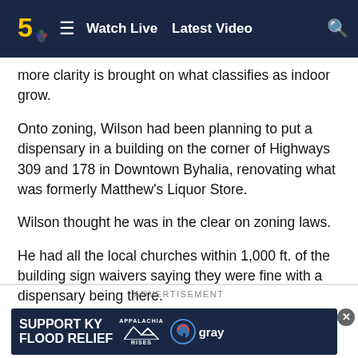Watch Live  Latest Video
more clarity is brought on what classifies as indoor grow.
Onto zoning, Wilson had been planning to put a dispensary in a building on the corner of Highways 309 and 178 in Downtown Byhalia, renovating what was formerly Matthew's Liquor Store.
Wilson thought he was in the clear on zoning laws.
He had all the local churches within 1,000 ft. of the building sign waivers saying they were fine with a dispensary being there.
ADVERTISEMENT
[Figure (screenshot): SUPPORT KY FLOOD RELIEF advertisement banner with Appalachia Rises and Gray television logo]